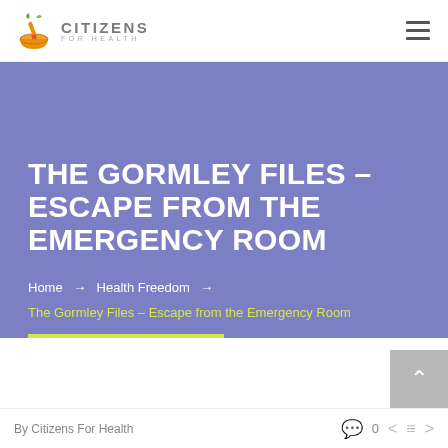[Figure (logo): Citizens For Health logo with orange mortar and pestle icon and grey uppercase text CITIZENS FOR HEALTH]
THE GORMLEY FILES – ESCAPE FROM THE EMERGENCY ROOM
Home → Health Freedom → The Gormley Files – Escape from the Emergency Room
By Citizens For Health   0  <  ≡  >